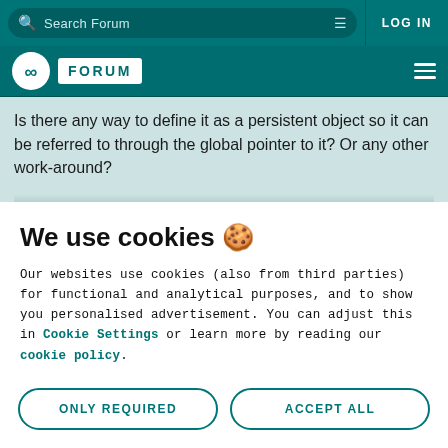Search Forum  LOG IN
FORUM
Is there any way to define it as a persistent object so it can be referred to through the global pointer to it? Or any other work-around?
We use cookies 🍪
Our websites use cookies (also from third parties) for functional and analytical purposes, and to show you personalised advertisement. You can adjust this in Cookie Settings or learn more by reading our cookie policy.
ONLY REQUIRED
ACCEPT ALL